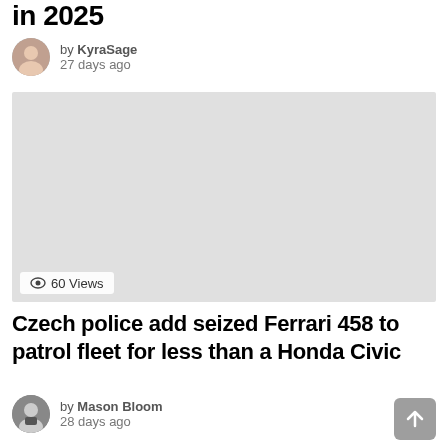in 2025
by KyraSage
27 days ago
[Figure (photo): Gray placeholder image for article photo]
60 Views
Czech police add seized Ferrari 458 to patrol fleet for less than a Honda Civic
by Mason Bloom
28 days ago